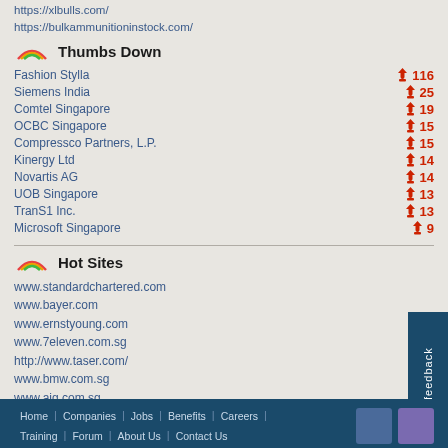https://xlbulls.com/
https://bulkammunitioninstock.com/
Thumbs Down
Fashion Stylla  116
Siemens India  25
Comtel Singapore  19
OCBC Singapore  15
Compressco Partners, L.P.  15
Kinergy Ltd  14
Novartis AG  14
UOB Singapore  13
TranS1 Inc.  13
Microsoft Singapore  9
Hot Sites
www.standardchartered.com
www.bayer.com
www.ernstyoung.com
www.7eleven.com.sg
http://www.taser.com/
www.bmw.com.sg
www.aig.com.sg
www.basf.com
www.vw.com
http://www.pinnacleminds.com.sg/
Home | Companies | Jobs | Benefits | Careers | Training | Forum | About Us | Contact Us